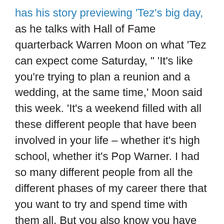has his story previewing 'Tez's big day, as he talks with Hall of Fame quarterback Warren Moon on what 'Tez can expect come Saturday, " 'It's like you're trying to plan a reunion and a wedding, at the same time,' Moon said this week. 'It's a weekend filled with all these different people that have been involved in your life – whether it's high school, whether it's Pop Warner. I had so many different people from all the different phases of my career there that you want to try and spend time with them all. But you also know you have all these other obligations.' "
Farnsworth also brings us his final 'Countdown to Canton' piece, this one with the only Seahawk currently in the Hall of Fame – wide receiver Steve Largent, " 'I'm so happy for Cortez,' Largent said. 'He knows how cool it is right now, but he doesn't realize yet that it gets better and better. Just the quality and caliber of guys that you're associated with